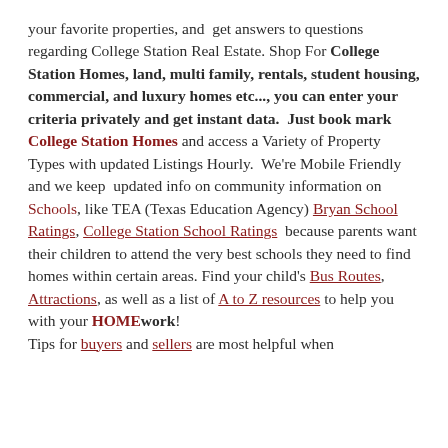your favorite properties, and get answers to questions regarding College Station Real Estate. Shop For College Station Homes, land, multi family, rentals, student housing, commercial, and luxury homes etc..., you can enter your criteria privately and get instant data. Just book mark College Station Homes and access a Variety of Property Types with updated Listings Hourly. We're Mobile Friendly and we keep updated info on community information on Schools, like TEA (Texas Education Agency) Bryan School Ratings, College Station School Ratings because parents want their children to attend the very best schools they need to find homes within certain areas. Find your child's Bus Routes, Attractions, as well as a list of A to Z resources to help you with your HOMEwork! Tips for buyers and sellers are most helpful when